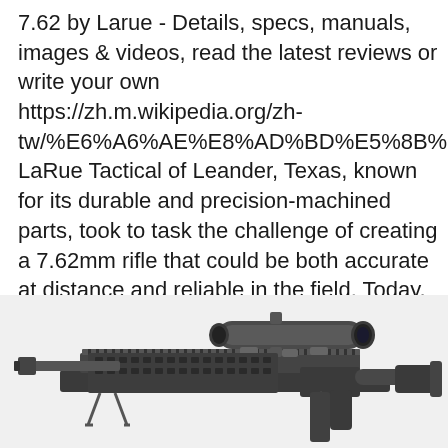7.62 by Larue - Details, specs, manuals, images & videos, read the latest reviews or write your own https://zh.m.wikipedia.org/zh-tw/%E6%A6%AE%E8%AD%BD%E5%8B%B3%E7% LaRue Tactical of Leander, Texas, known for its durable and precision-machined parts, took to task the challenge of creating a 7.62mm rifle that could be both accurate at distance and reliable in the field. Today, the 7.62mm OBR finds itself as an established standard, and it was brought back to Texas with a carbon-fiber-wrapped barrel from Proof Research and put it in the hands of one of.
[Figure (photo): A precision rifle with a telescopic scope mounted on top, shown in profile view. The rifle appears to be a 7.62mm OBR (Optimized Battle Rifle) by LaRue Tactical, featuring a long barrel, rail system, and tactical scope.]